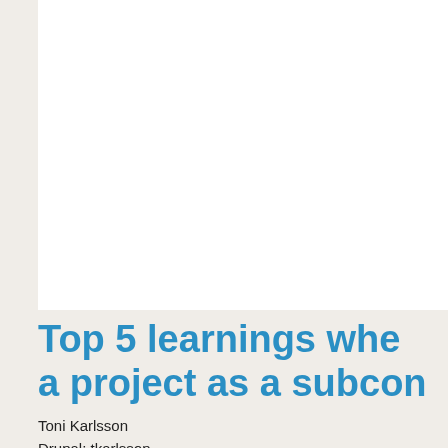[Figure (other): White rectangular block at the top of the page, likely a placeholder image area]
Top 5 learnings whe... a project as a subcon...
Toni Karlsson
Drupal: tkarlsson
Navigating a large project structure as a subcontractor can so... confusing, especially when there are multiple stakeholders inv... situation where your project has three project managers and t... among others.